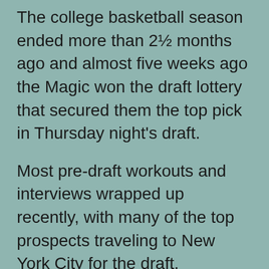The college basketball season ended more than 2½ months ago and almost five weeks ago the Magic won the draft lottery that secured them the top pick in Thursday night's draft.
Most pre-draft workouts and interviews wrapped up recently, with many of the top prospects traveling to New York City for the draft.
But as Magic president of basketball operations Jeff Weltman sees it, “It’s still early in the process,” and there’s plenty of time for Orlando’s organization to mull over what it’s